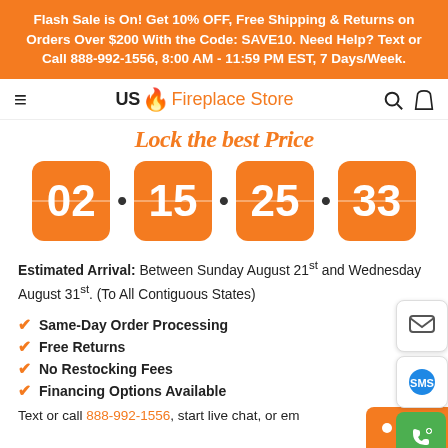Flash Sale is On! Get 10% OFF, Free Shipping & Returns on Orders Over $200 With the Code: SAVE10. Need Help? Text or Call 888-992-1556, 8:00 AM - 11:59 PM EST, 7 Days/Week.
[Figure (screenshot): US Fireplace Store navigation bar with hamburger menu, logo, search and cart icons]
Lock the best Price
[Figure (infographic): Countdown timer showing 02:15:25:33]
Estimated Arrival: Between Sunday August 21st and Wednesday August 31st. (To All Contiguous States)
Same-Day Order Processing
Free Returns
No Restocking Fees
Financing Options Available
Text or call 888-992-1556, start live chat, or em...